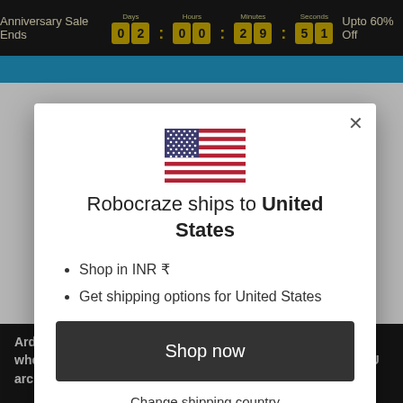Anniversary Sale Ends 02:00:29:51 Upto 60% Off
[Figure (screenshot): Modal dialog on Robocraze website showing US flag and shipping options for United States]
Robocraze ships to United States
Shop in INR ₹
Get shipping options for United States
Shop now
Change shipping country
Arduino has a simple hardware and software structure whereas Raspberry Pi has a complex structure. Arduino CPU architecture is Simple, Pi CPU is 64-bit... Raspberry Pi it